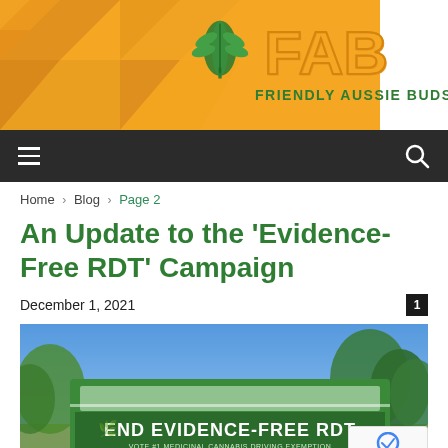[Figure (logo): Friendly Aussie Buds logo with orange geometric triangle background, green cannabis leaf icon, and orange 'FAB' text with 'FRIENDLY AUSSIE BUDS' subtitle]
[Figure (other): Dark navigation bar with hamburger menu icon on left and search icon on right]
Home › Blog › Page 2
An Update to the 'Evidence-Free RDT' Campaign
December 1, 2021
[Figure (photo): Photo of a green bus with 'END EVIDENCE-FREE RDT' campaign text on the side, with trees and blue sky in background]